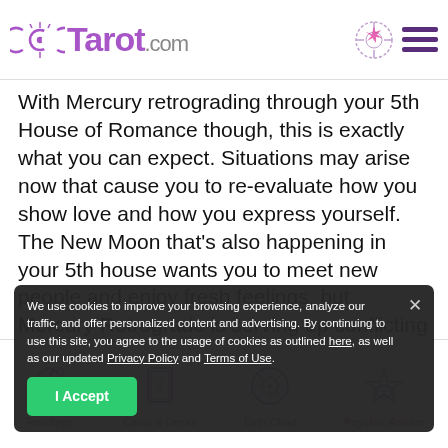Tarot.com
With Mercury retrograding through your 5th House of Romance though, this is exactly what you can expect. Situations may arise now that cause you to re-evaluate how you show love and how you express yourself. The New Moon that's also happening in your 5th house wants you to meet new people and enjoy fresh feelings, but Mercury Retrograde is serving up conflicting feelings from the past. If you use this retrograde period to identify and clear old patterns are no longer serving you, once Mercury turns direct your heart can truly start anew.
We use cookies to improve your browsing experience, analyze our traffic, and offer personalized content and advertising. By continuing to use this site, you agree to the usage of cookies as outlined here, as well as our updated Privacy Policy and Terms of Use.
Readings | Cards & Decks | Birth Chart | Psychic Advice